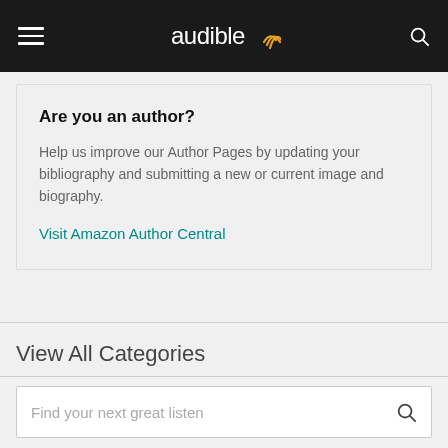audible
Are you an author?
Help us improve our Author Pages by updating your bibliography and submitting a new or current image and biography.
Visit Amazon Author Central
View All Categories
Find your next great listen
Help Center